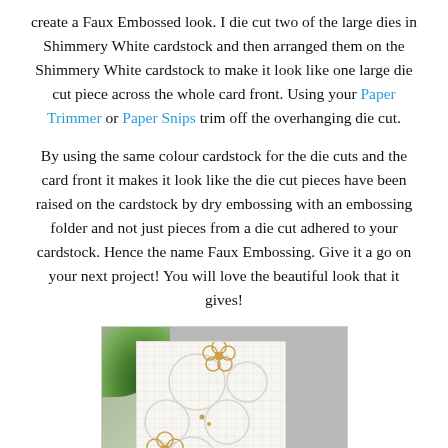create a Faux Embossed look. I die cut two of the large dies in Shimmery White cardstock and then arranged them on the Shimmery White cardstock to make it look like one large die cut piece across the whole card front. Using your Paper Trimmer or Paper Snips trim off the overhanging die cut.
By using the same colour cardstock for the die cuts and the card front it makes it look like the die cut pieces have been raised on the cardstock by dry embossing with an embossing folder and not just pieces from a die cut adhered to your cardstock. Hence the name Faux Embossing. Give it a go on your next project! You will love the beautiful look that it gives!
[Figure (photo): A handmade greeting card with white faux embossed floral texture, featuring gold outlined flower die cuts and a black banner reading THINKING OF YOU, displayed on a gray surface with green foliage in the corner.]